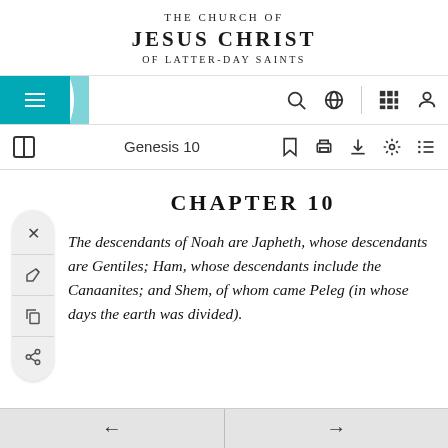THE CHURCH OF JESUS CHRIST OF LATTER-DAY SAINTS
[Figure (screenshot): Website navigation bar with hamburger menu on teal background, search icon, globe icon, grid icon, and user icon]
[Figure (screenshot): Toolbar with book icon, Genesis 10 title, bookmark, print, download, settings, and list icons]
CHAPTER 10
The descendants of Noah are Japheth, whose descendants are Gentiles; Ham, whose descendants include the Canaanites; and Shem, of whom came Peleg (in whose days the earth was divided).